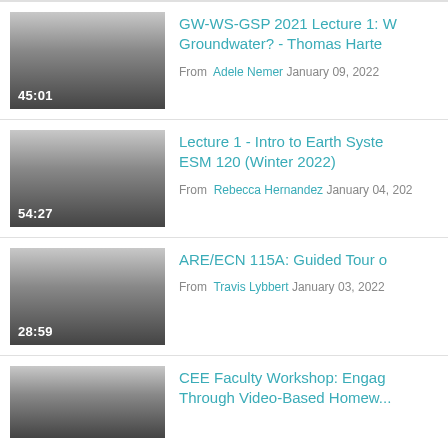[Figure (screenshot): Video thumbnail with gradient (light to dark gray) showing duration 45:01]
GW-WS-GSP 2021 Lecture 1: W Groundwater? - Thomas Harte
From Adele Nemer January 09, 2022
[Figure (screenshot): Video thumbnail with gradient (light to dark gray) showing duration 54:27]
Lecture 1 - Intro to Earth Syste ESM 120 (Winter 2022)
From Rebecca Hernandez January 04, 202
[Figure (screenshot): Video thumbnail with gradient (light to dark gray) showing duration 28:59]
ARE/ECN 115A: Guided Tour o
From Travis Lybbert January 03, 2022
[Figure (screenshot): Video thumbnail with gradient (light to dark gray), partial view, no duration visible]
CEE Faculty Workshop: Engag Through Video-Based Homew...